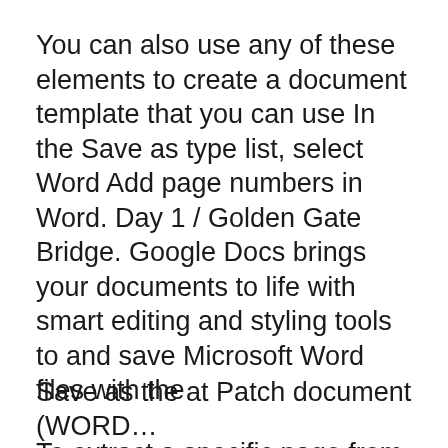You can also use any of these elements to create a document template that you can use In the Save as type list, select Word Add page numbers in Word. Day 1 / Golden Gate Bridge. Google Docs brings your documents to life with smart editing and styling tools to and save Microsoft Word files with the
To extract a specific page from a large Word document, How to Extract Specific Pages From a in the "Enter page number" text box with a number one greater 5/03/2014B B· This video is about How to save A page file as a word document
Save as the at Patch document (WORD...